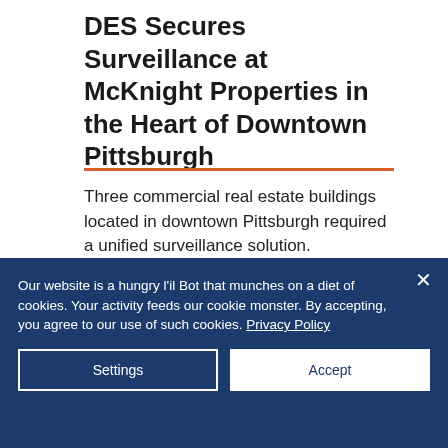DES Secures Surveillance at McKnight Properties in the Heart of Downtown Pittsburgh
Three commercial real estate buildings located in downtown Pittsburgh required a unified surveillance solution.
[Figure (photo): Street-level photo of downtown Pittsburgh showing multi-story buildings, traffic lights, pedestrians, and a busy intersection.]
Our website is a hungry l'il Bot that munches on a diet of cookies. Your activity feeds our cookie monster. By accepting, you agree to our use of such cookies. Privacy Policy